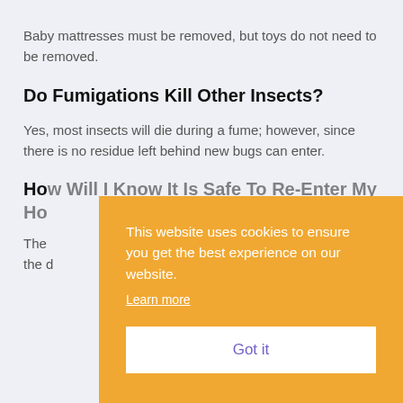Baby mattresses must be removed, but toys do not need to be removed.
Do Fumigations Kill Other Insects?
Yes, most insects will die during a fume; however, since there is no residue left behind new bugs can enter.
How Will I Know It Is Safe To Re-Enter My Home
The [partially obscured by cookie banner]
This website uses cookies to ensure you get the best experience on our website. Learn more
Got it